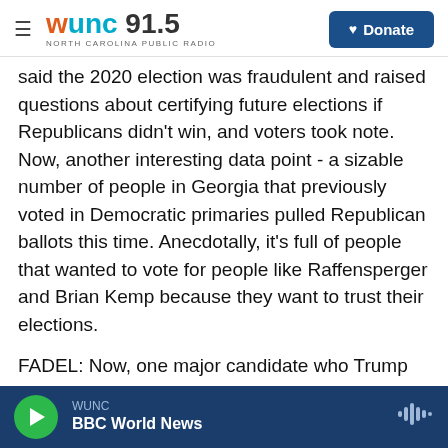WUNC 91.5 NORTH CAROLINA PUBLIC RADIO | Donate
said the 2020 election was fraudulent and raised questions about certifying future elections if Republicans didn't win, and voters took note. Now, another interesting data point - a sizable number of people in Georgia that previously voted in Democratic primaries pulled Republican ballots this time. Anecdotally, it's full of people that wanted to vote for people like Raffensperger and Brian Kemp because they want to trust their elections.
FADEL: Now, one major candidate who Trump endorsed did manage a win. Is that race just an outlier in Georgia?
WUNC | BBC World News